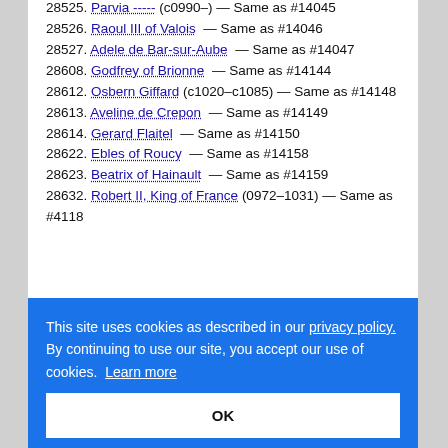28525. Parvia ----- (c0990–) — Same as #14045
28526. Raoul III of Valois — Same as #14046
28527. Adele de Bar-sur-Aube — Same as #14047
28608. Godfrey of Brionne — Same as #14144
28612. Osbern Giffard (c1020–c1085) — Same as #14148
28613. Aveline de Crepon — Same as #14149
28614. Gerard Flaitel — Same as #14150
28622. Ebles of Roucy — Same as #14158
28623. Beatrix of Hainault — Same as #14159
28632. Robert II, King of France (0972–1031) — Same as #4118
Cookie banner: This site uses cookies as described in our privacy policy. By continuing to use our site, you accept our use of cookies. Learn more. OK
28637. Parvia ----- (c0990–) — Same as #14045